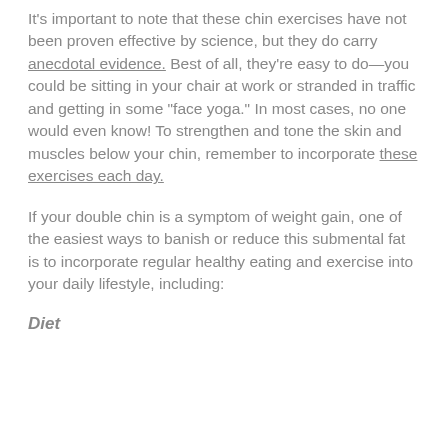It's important to note that these chin exercises have not been proven effective by science, but they do carry anecdotal evidence. Best of all, they're easy to do—you could be sitting in your chair at work or stranded in traffic and getting in some "face yoga." In most cases, no one would even know! To strengthen and tone the skin and muscles below your chin, remember to incorporate these exercises each day.
If your double chin is a symptom of weight gain, one of the easiest ways to banish or reduce this submental fat is to incorporate regular healthy eating and exercise into your daily lifestyle, including:
Diet